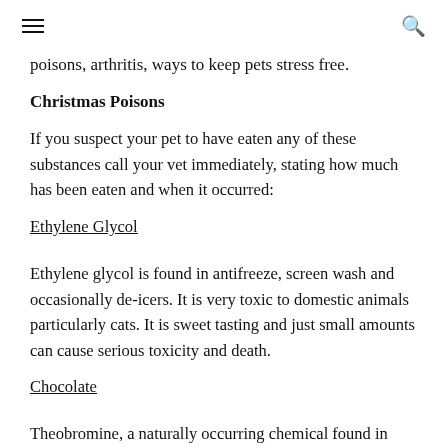≡   🔍
poisons, arthritis, ways to keep pets stress free.
Christmas Poisons
If you suspect your pet to have eaten any of these substances call your vet immediately, stating how much has been eaten and when it occurred:
Ethylene Glycol
Ethylene glycol is found in antifreeze, screen wash and occasionally de-icers. It is very toxic to domestic animals particularly cats. It is sweet tasting and just small amounts can cause serious toxicity and death.
Chocolate
Theobromine, a naturally occurring chemical found in cocoa beans, is the main toxin responsible for chocolate poisoning in animals. Theobromine is a similar chemical to caffeine and can cause tummy